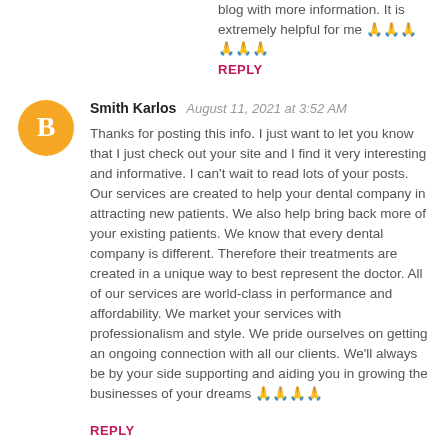blog with more information. It is extremely helpful for me 🙏🙏🙏🙏🙏🙏
REPLY
[Figure (illustration): Orange circular Blogger avatar icon with white 'B' letter]
Smith Karlos   August 11, 2021 at 3:52 AM
Thanks for posting this info. I just want to let you know that I just check out your site and I find it very interesting and informative. I can't wait to read lots of your posts. Our services are created to help your dental company in attracting new patients. We also help bring back more of your existing patients. We know that every dental company is different. Therefore their treatments are created in a unique way to best represent the doctor. All of our services are world-class in performance and affordability. We market your services with professionalism and style. We pride ourselves on getting an ongoing connection with all our clients. We'll always be by your side supporting and aiding you in growing the businesses of your dreams 🙏🙏🙏🙏
REPLY